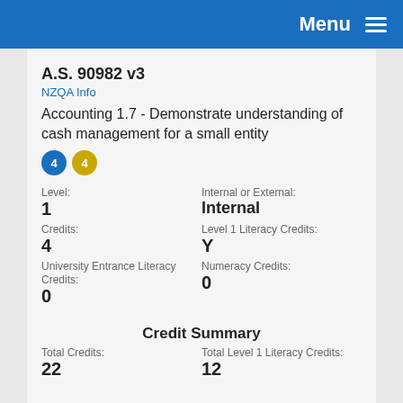Menu
A.S. 90982 v3
NZQA Info
Accounting 1.7 - Demonstrate understanding of cash management for a small entity
Level: 1
Internal or External: Internal
Credits: 4
Level 1 Literacy Credits: Y
University Entrance Literacy Credits: 0
Numeracy Credits: 0
Credit Summary
Total Credits: 22
Total Level 1 Literacy Credits: 12